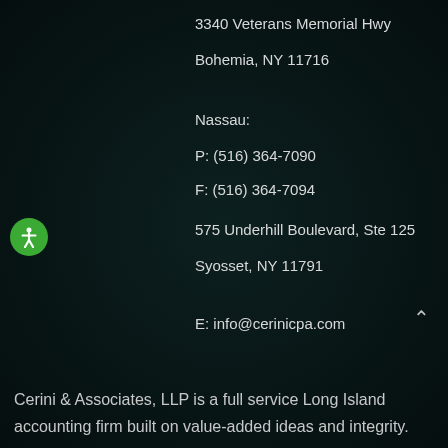3340 Veterans Memorial Hwy
Bohemia, NY 11716
Nassau:
P: (516) 364-7090
F: (516) 364-7094
575 Underhill Boulevard, Ste 125
Syosset, NY 11791
E: info@cerinicpa.com
Cerini & Associates, LLP is a full service Long Island accounting firm built on value-added ideas and integrity.